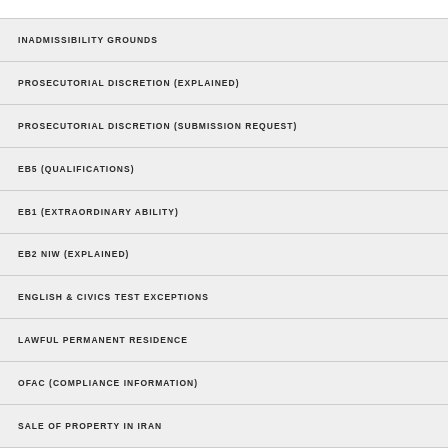INADMISSIBILITY GROUNDS
PROSECUTORIAL DISCRETION (EXPLAINED)
PROSECUTORIAL DISCRETION (SUBMISSION REQUEST)
EB5 (QUALIFICATIONS)
EB1 (EXTRAORDINARY ABILITY)
EB2 NIW (EXPLAINED)
ENGLISH & CIVICS TEST EXCEPTIONS
LAWFUL PERMANENT RESIDENCE
OFAC (COMPLIANCE INFORMATION)
SALE OF PROPERTY IN IRAN